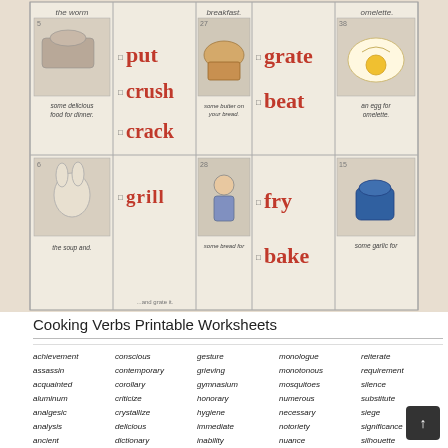[Figure (illustration): Cooking Verbs worksheet with image cards showing actions: put, crush, crack, grill, grate, beat, fry, bake with small illustrations]
Cooking Verbs Printable Worksheets
achievement
conscious
gesture
monologue
reiterate
assassin
contemporary
grieving
monotonous
requirement
acquainted
corollary
gymnasium
mosquitoes
silence
aluminum
criticize
honorary
numerous
substitute
analgesic
crystallize
hygiene
necessary
siege
analysis
delicious
immediate
notoriety
significance
ancient
dictionary
inability
nuance
silhouette
anecdote
dilemma
inaugural
nuisance
somersault
antique
disastrous
incognito
obedience
sporadic
apprehension
disengage
indefatigable
obnoxious
spontaneous
auditorium
drudgery
instructor
occasion
synthesis
awkward
duplicity
inflatable
occurrence
technical
brochure
eclectic
irresistible
official
thorough
bellicose
effervescent
judgment
pageant
throughout